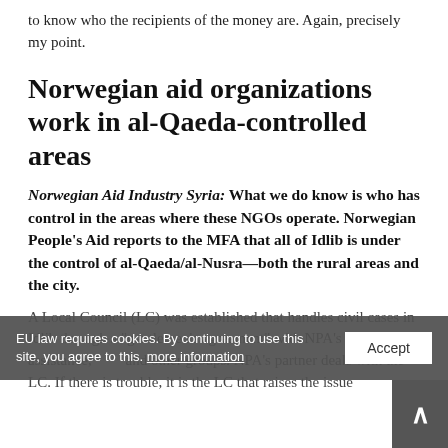to know who the recipients of the money are. Again, precisely my point.
Norwegian aid organizations work in al-Qaeda-controlled areas
Norwegian Aid Industry Syria: What we do know is who has control in the areas where these NGOs operate. Norwegian People's Aid reports to the MFA that all of Idlib is under the control of al-Qaeda/al-Nusra—both the rural areas and the city.
A Local Council (LC) was established that handles civil cases in Idlib through a "gentlemen's agreement" with NPA's assistance, and other groups. NPA's partner deals with the LC. If there is trouble, it is the LC that raises the issue